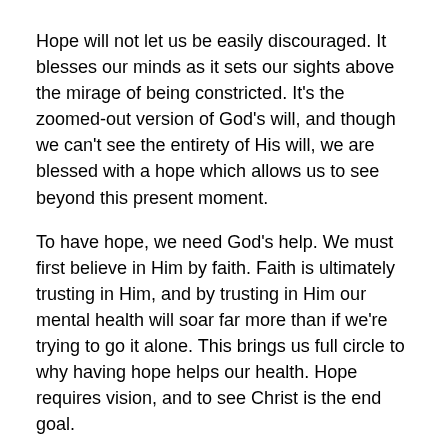Hope will not let us be easily discouraged. It blesses our minds as it sets our sights above the mirage of being constricted. It's the zoomed-out version of God's will, and though we can't see the entirety of His will, we are blessed with a hope which allows us to see beyond this present moment.
To have hope, we need God's help. We must first believe in Him by faith. Faith is ultimately trusting in Him, and by trusting in Him our mental health will soar far more than if we're trying to go it alone. This brings us full circle to why having hope helps our health. Hope requires vision, and to see Christ is the end goal.
Hope is Power
Most of us have heard the glass half empty or glass half full mentalities. Having hope is like having a glass half full mindset. When we come up against something hard, there are multiple ways we can perceive it.